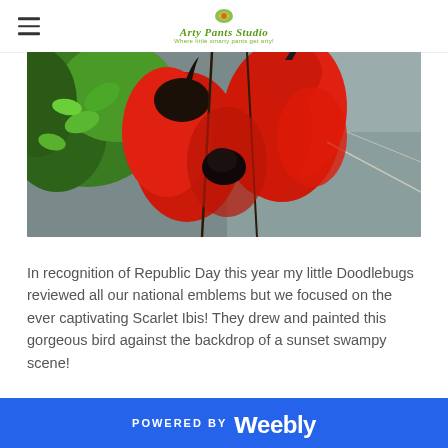Arty Pants Studio — Where little smarty pants get arty!
[Figure (photo): Close-up photograph of Scarlet Ibis birds with vibrant red plumage and dark curved beaks, set against green foliage and grey background]
In recognition of Republic Day this year my little Doodlebugs reviewed all our national emblems but we focused on the ever captivating Scarlet Ibis! They drew and painted this gorgeous bird against the backdrop of a sunset swampy scene!
POWERED BY weebly